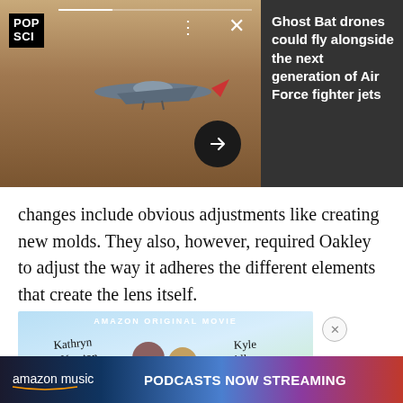[Figure (screenshot): Mobile news card showing a Ghost Bat drone flying over desert terrain. Includes POP SCI logo in top-left, progress bar, three-dot menu icon, X close icon, and right-arrow navigation button. Dark sidebar with article headline text.]
Ghost Bat drones could fly alongside the next generation of Air Force fighter jets
changes include obvious adjustments like creating new molds. They also, however, required Oakley to adjust the way it adheres the different elements that create the lens itself.
[Figure (photo): Amazon Original Movie advertisement featuring Kathryn Newton and Kyle Allen]
AMAZON ORIGINAL MOVIE — Kathryn Newton, Kyle Allen
[Figure (screenshot): Amazon Music bottom banner ad: amazon music PODCASTS NOW STREAMING]